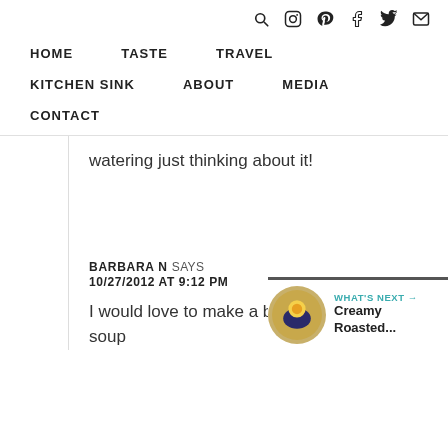HOME  TASTE  TRAVEL  KITCHEN SINK  ABOUT  MEDIA  CONTACT
watering just thinking about it!
BARBARA N SAYS
10/27/2012 AT 9:12 PM
I would love to make a butternut squash soup